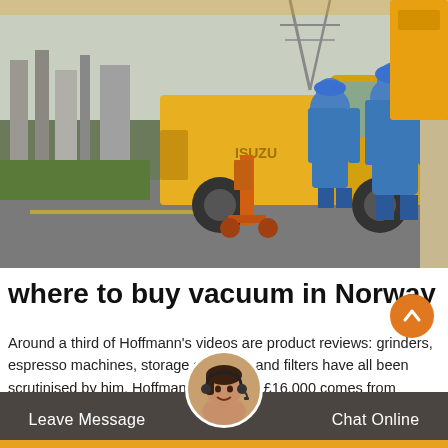[Figure (photo): Two workers in blue coveralls and blue hard hats standing near a yellow Isuzu truck at an industrial/electrical substation site. An orange hand truck/dolly is visible in the foreground. Power lines and industrial equipment in background.]
where to buy vacuum in Norway
Around a third of Hoffmann's videos are product reviews: grinders, espresso machines, storage canisters and filters have all been scrutinised by him. Hoffmann's monthly £16,000 comes from